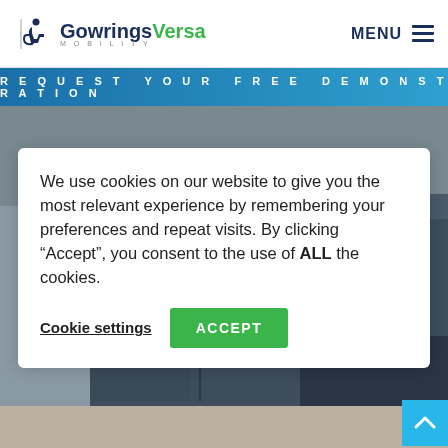GowringsVersa Mobility | MENU
REQUEST YOUR FREE DEMONSTRATION
[Figure (screenshot): A dark grey/blue Renault Master wheelchair accessible minibus van photographed from the front-left angle, parked on a light-coloured floor against a grey background.]
We use cookies on our website to give you the most relevant experience by remembering your preferences and repeat visits. By clicking “Accept”, you consent to the use of ALL the cookies.
Cookie settings | ACCEPT